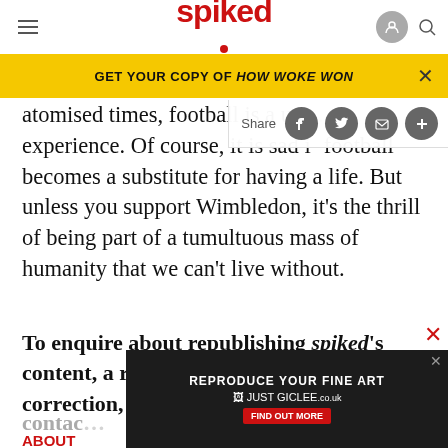spiked
[Figure (screenshot): Yellow promotional banner: GET YOUR COPY OF HOW WOKE WON with close X button]
[Figure (screenshot): Share bar overlay with Share label and social icons for Facebook, Twitter, email, and plus]
atomised times, football is a uni… experience. Of course, it is sad if football becomes a substitute for having a life. But unless you support Wimbledon, it's the thrill of being part of a tumultuous mass of humanity that we can't live without.
To enquire about republishing spiked's content, a right to reply or to request a correction, please
contac…
ABOUT
[Figure (screenshot): Advertisement banner: REPRODUCE YOUR FINE ART JUST GICLEE.co.uk FIND OUT MORE]